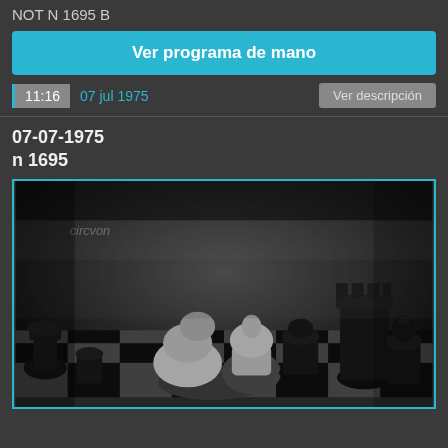NOT N 1695 B
Ver programa de mano
11:16   07 jul 1975   Ver descripción
07-07-1975
n 1695
[Figure (photo): Black and white photograph of a chess game in progress, showing chess pieces on a chessboard viewed from a low angle. The image appears to be a still from a historical video broadcast, with some text overlay visible in the upper left corner.]